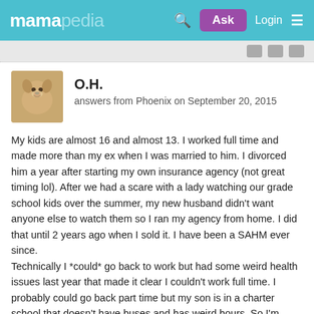mamapedia — Ask Login
O.H.
answers from Phoenix on September 20, 2015
My kids are almost 16 and almost 13. I worked full time and made more than my ex when I was married to him. I divorced him a year after starting my own insurance agency (not great timing lol). After we had a scare with a lady watching our grade school kids over the summer, my new husband didn't want anyone else to watch them so I ran my agency from home. I did that until 2 years ago when I sold it. I have been a SAHM ever since.
Technically I *could* go back to work but had some weird health issues last year that made it clear I couldn't work full time. I probably could go back part time but my son is in a charter school that doesn't have buses and has weird hours. So I'm home. My husband would rather I stay home because of my health.